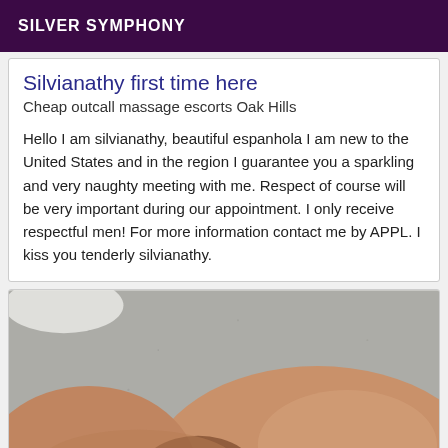SILVER SYMPHONY
Silvianathy first time here
Cheap outcall massage escorts Oak Hills
Hello I am silvianathy, beautiful espanhola I am new to the United States and in the region I guarantee you a sparkling and very naughty meeting with me. Respect of course will be very important during our appointment. I only receive respectful men! For more information contact me by APPL. I kiss you tenderly silvianathy.
[Figure (photo): Partial photo showing a person's legs/knees against a concrete or stone surface background, cropped at the bottom of the page.]